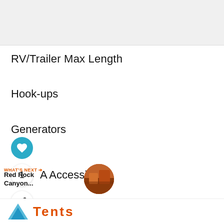RV/Trailer Max Length
Hook-ups
Generators
A Accessible
WHAT'S NEXT →
Red Rock Canyon...
[Figure (logo): Tents logo with blue tent icon and orange TENTS text]